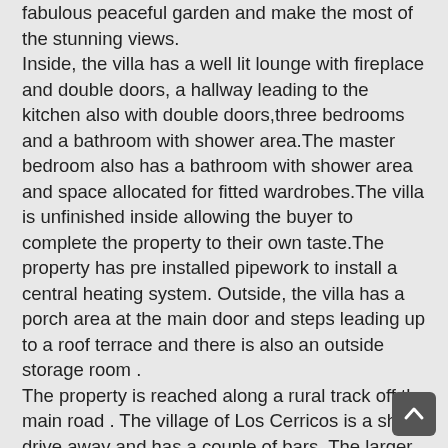fabulous peaceful garden and make the most of the stunning views. Inside, the villa has a well lit lounge with fireplace and double doors, a hallway leading to the kitchen also with double doors,three bedrooms and a bathroom with shower area.The master bedroom also has a bathroom with shower area and space allocated for fitted wardrobes.The villa is unfinished inside allowing the buyer to complete the property to their own taste.The property has pre installed pipework to install a central heating system. Outside, the villa has a porch area at the main door and steps leading up to a roof terrace and there is also an outside storage room . The property is reached along a rural track off the main road . The village of Los Cerricos is a short drive away and has a couple of bars. The larger town of Chirivel is a twenty minute drive on a good road . From Chirivel there is good access to the motorway for Lorca,Murcia,Alicante and Baza and Granada. In the other direction the villa is also a short drive away from the well known Nuestra